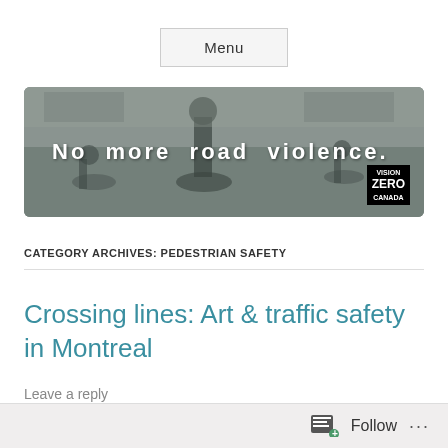Menu
[Figure (photo): Black and white banner photo of cyclists on a city street with the text 'No more road violence.' overlaid in white bold letters. A Vision Zero Canada logo appears in the bottom-right corner.]
CATEGORY ARCHIVES: PEDESTRIAN SAFETY
Crossing lines: Art & traffic safety in Montreal
Leave a reply
Follow ...